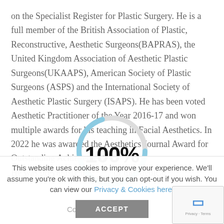on the Specialist Register for Plastic Surgery. He is a full member of the British Association of Plastic, Reconstructive, Aesthetic Surgeons(BAPRAS), the United Kingdom Association of Aesthetic Plastic Surgeons(UKAAPS), American Society of Plastic Surgeons (ASPS) and the International Society of Aesthetic Plastic Surgery (ISAPS). He has been voted Aesthetic Practitioner of the Year 2016-17 and won multiple awards for his teaching in Facial Aesthetics. In 2022 he was awarded the Aesthetics Journal Award for Outstanding Achievement. He was previously the [chair] of the Medical
[Figure (infographic): Circular loading spinner (donut arc in light blue/grey) with '100%' text label in bold black in the center, overlaid on the main text content]
This website uses cookies to improve your experience. We'll assume you're ok with this, but you can opt-out if you wish. You can view our Privacy & Cookies here.
Cookie settings
ACCEPT